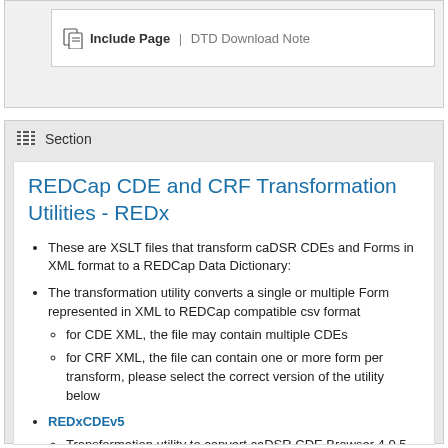[Figure (screenshot): Top UI box showing 'Include Page | DTD Download Note' interface element]
Section
REDCap CDE and CRF Transformation Utilities - REDx
These are XSLT files that transform caDSR CDEs and Forms in XML format to a REDCap Data Dictionary:
The transformation utility converts a single or multiple Form represented in XML to REDCap compatible csv format
for CDE XML, the file may contain multiple CDEs
for CRF XML, the file can contain one or more form per transform, please select the correct version of the utility below
REDxCDEv5
Transformation utility to convert caDSR CDE Browser 4.0.5 XML download format into REDCap Data Dictionary as of 2016/10/02
Version 5 - 2016-10-27: Change transform to pull